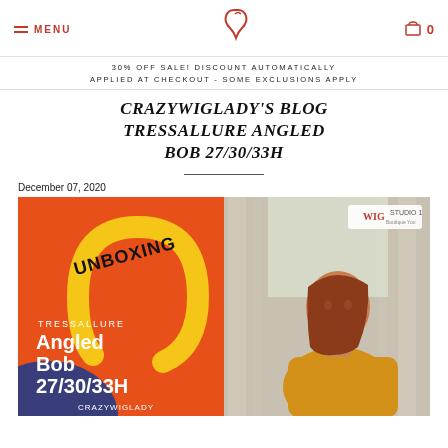MENU | [logo] | 🛒 0
30% OFF SALE! DISCOUNT AUTOMATICALLY APPLIED AT CHECKOUT - SOME EXCLUSIONS APPLY
CRAZYWIGLADY'S BLOG TRESSALLURE ANGLED BOB 27/30/33H
December 07, 2020
[Figure (photo): Unboxing thumbnail image for TressAllure Angled Bob 27/30/33H wig. Left half has orange background with text 'UNBOXING', 'TRESSALLURE', 'Angled Bob 27/30/33H', 'CRAZYWIGLADY' and a yellow arch shape plus blue curved element. Right half shows a woman with short auburn angled bob wig wearing yellow top, with WIG Studio 1 logo in top right corner.]